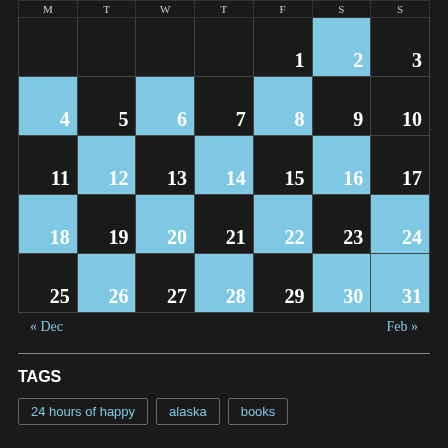| M | T | W | T | F | S | S |
| --- | --- | --- | --- | --- | --- | --- |
|  |  |  |  | 1 | 2 | 3 |
| 4 | 5 | 6 | 7 | 8 | 9 | 10 |
| 11 | 12 | 13 | 14 | 15 | 16 | 17 |
| 18 | 19 | 20 | 21 | 22 | 23 | 24 |
| 25 | 26 | 27 | 28 | 29 | 30 | 31 |
« Dec    Feb »
TAGS
24 hours of happy
alaska
books